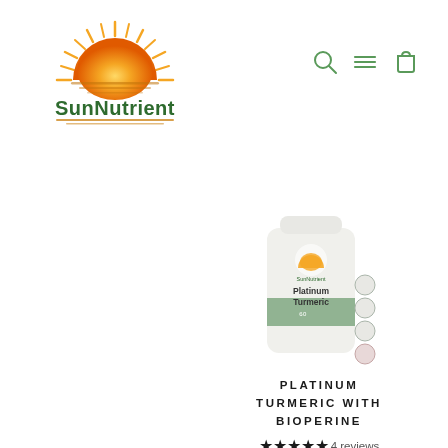[Figure (logo): SunNutrient logo with sun graphic and brand name]
[Figure (other): Navigation icons: search (magnifier), menu (three lines), cart (bag)]
[Figure (photo): Photo of Platinum Turmeric supplement bottle by SunNutrient with certification badges]
PLATINUM TURMERIC WITH BIOPERINE
★★★★★ 4 reviews
$24.99